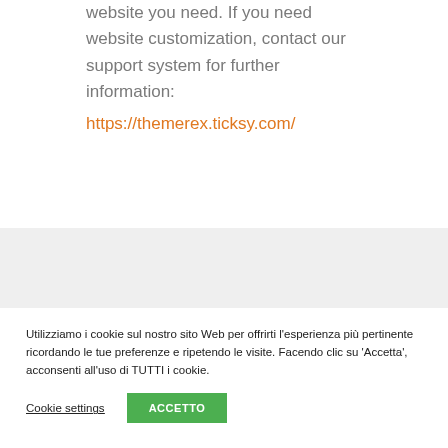website you need. If you need website customization, contact our support system for further information:
https://themerex.ticksy.com/
Utilizziamo i cookie sul nostro sito Web per offrirti l'esperienza più pertinente ricordando le tue preferenze e ripetendo le visite. Facendo clic su 'Accetta', acconsenti all'uso di TUTTI i cookie.
Cookie settings
ACCETTO